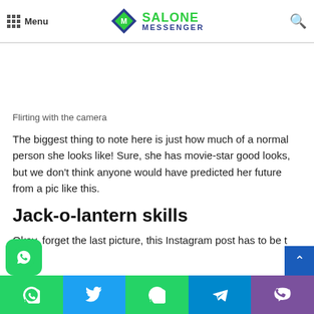Menu | SALONE MESSENGER
Flirting with the camera
The biggest thing to note here is just how much of a normal person she looks like! Sure, she has movie-star good looks, but we don't think anyone would have predicted her future from a pic like this.
Jack-o-lantern skills
Okay, forget the last picture, this Instagram post has to be the least normal-seeming one. I mean, come on, who doesn't